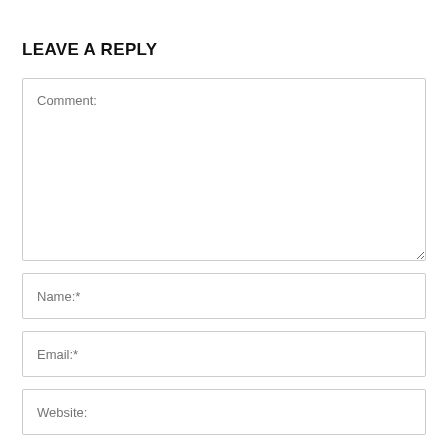LEAVE A REPLY
Comment:
Name:*
Email:*
Website: